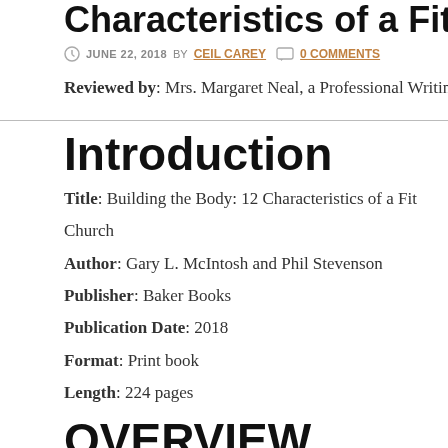Characteristics of a Fit Ch…
JUNE 22, 2018 BY CEIL CAREY  0 COMMENTS
Reviewed by: Mrs. Margaret Neal, a Professional Writing Major at T…
Introduction
Title: Building the Body: 12 Characteristics of a Fit Church
Author: Gary L. McIntosh and Phil Stevenson
Publisher: Baker Books
Publication Date: 2018
Format: Print book
Length: 224 pages
OVERVIEW
What does it mean to be physically “healthy?” What about “fit?” Is th…